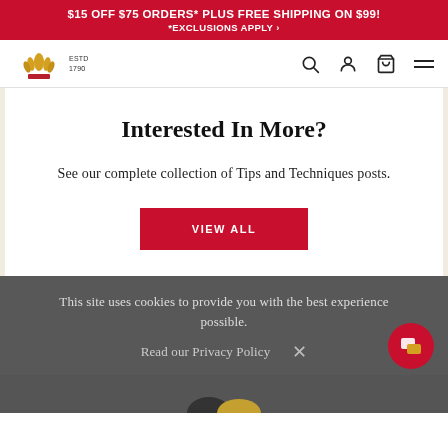$15 OFF $75 ORDERS* PLUS FREE SHIPPING ON $99! *EXCLUSIONS APPLY
[Figure (logo): King Arthur Baking Company logo — wheat crown icon with text ESTD 1790]
Interested In More?
See our complete collection of Tips and Techniques posts.
VIEW ALL
This site uses cookies to provide you with the best experience possible.
Read our Privacy Policy